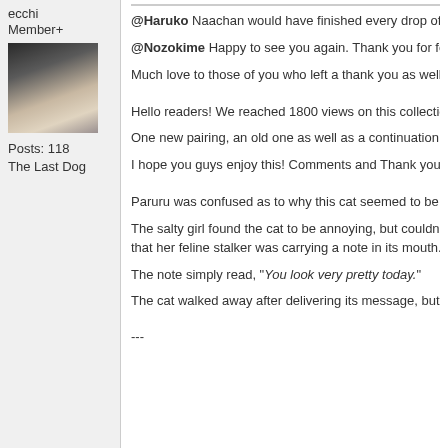ecchi
Member+
[Figure (photo): Avatar photo of a person lying down with dark hair, wearing dark clothing, on a light background]
Posts: 118
The Last Dog
@Haruko Naachan would have finished every drop of t
@Nozokime Happy to see you again. Thank you for fo
Much love to those of you who left a thank you as well.
Hello readers! We reached 1800 views on this collectio
One new pairing, an old one as well as a continuation o
I hope you guys enjoy this! Comments and Thank you's
Paruru was confused as to why this cat seemed to be f
The salty girl found the cat to be annoying, but couldn't that her feline stalker was carrying a note in its mouth.
The note simply read, "You look very pretty today."
The cat walked away after delivering its message, but m
---